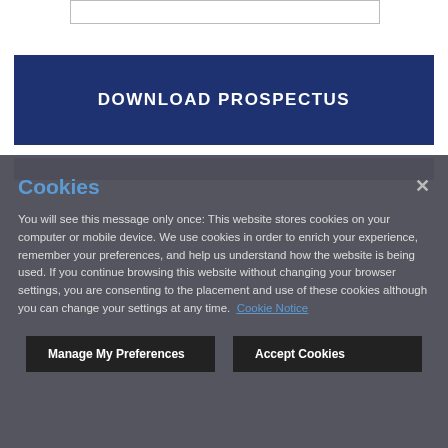[Figure (other): A white input box outline at top of page]
DOWNLOAD PROSPECTUS
Cookies
You will see this message only once: This website stores cookies on your computer or mobile device. We use cookies in order to enrich your experience, remember your preferences, and help us understand how the website is being used. If you continue browsing this website without changing your browser settings, you are consenting to the placement and use of these cookies although you can change your settings at any time.  Cookie Notice
Manage My Preferences
Accept Cookies